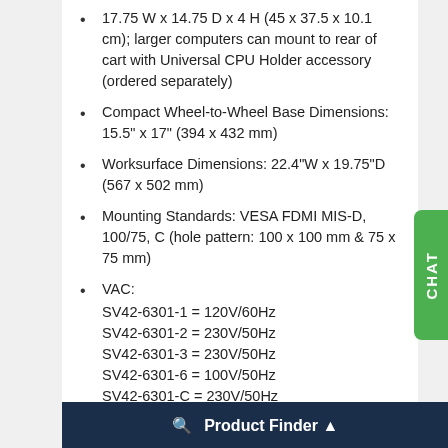17.75 W x 14.75 D x 4 H (45 x 37.5 x 10.1 cm); larger computers can mount to rear of cart with Universal CPU Holder accessory (ordered separately)
Compact Wheel-to-Wheel Base Dimensions: 15.5" x 17" (394 x 432 mm)
Worksurface Dimensions: 22.4"W x 19.75"D (567 x 502 mm)
Mounting Standards: VESA FDMI MIS-D, 100/75, C (hole pattern: 100 x 100 mm & 75 x 75 mm)
VAC:
SV42-6301-1 = 120V/60Hz
SV42-6301-2 = 230V/50Hz
SV42-6301-3 = 230V/50Hz
SV42-6301-6 = 100V/50Hz
SV42-6301-C = 230V/50Hz
Grounded Plug:
SV42-6301-1 = NEMA 5-15P
Hospital Gra...